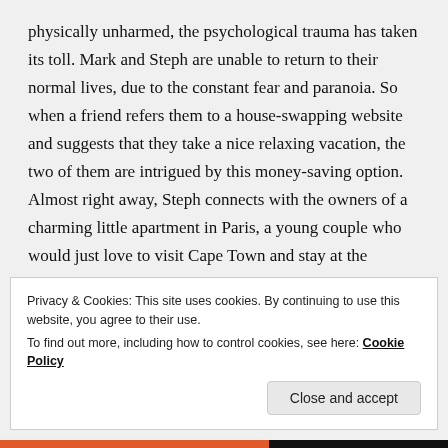physically unharmed, the psychological trauma has taken its toll. Mark and Steph are unable to return to their normal lives, due to the constant fear and paranoia. So when a friend refers them to a house-swapping website and suggests that they take a nice relaxing vacation, the two of them are intrigued by this money-saving option. Almost right away, Steph connects with the owners of a charming little apartment in Paris, a young couple who would just love to visit Cape Town and stay at the Sebastians' place. Despite a few lingering doubts, Mark and Steph decide to take the leap and plans are swiftly made for childcare and travel. After all, who can resist the draw of the city of light and love?
Privacy & Cookies: This site uses cookies. By continuing to use this website, you agree to their use.
To find out more, including how to control cookies, see here: Cookie Policy
Close and accept